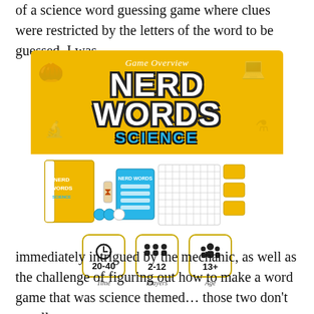of a science word guessing game where clues were restricted by the letters of the word to be guessed. I was
[Figure (photo): Game Overview image for Nerd Words: Science board game, showing the game box and components (cards, tokens, scoring sheets), with info icons showing 20-40 min Time, 2-12 Players, 13+ Age]
immediately intrigued by the mechanic, as well as the challenge of figuring out how to make a word game that was science themed… those two don't usually go